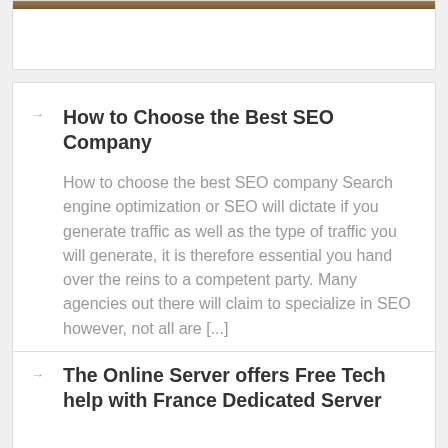[Figure (photo): Partial top of image card with brown/wood colored image strip visible at top]
How to Choose the Best SEO Company
How to choose the best SEO company Search engine optimization or SEO will dictate if you generate traffic as well as the type of traffic you will generate, it is therefore essential you hand over the reins to a competent party. Many agencies out there will claim to specialize in SEO however, not all are [...]
The Online Server offers Free Tech help with France Dedicated Server